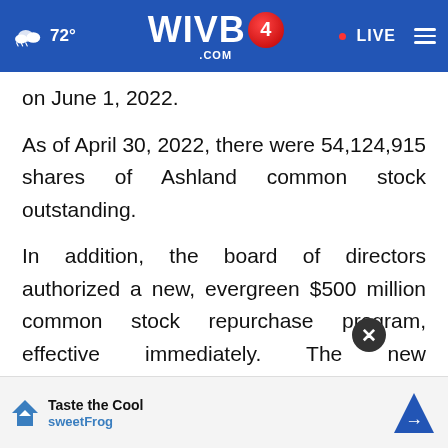WIVB4.COM | 72° | LIVE
on June 1, 2022.
As of April 30, 2022, there were 54,124,915 shares of Ashland common stock outstanding.
In addition, the board of directors authorized a new, evergreen $500 million common stock repurchase program, effective immediately. The new authorization terminates and replaces the company's 2018 $1 billion share repurchase program, the company's common shares may be repurchased
[Figure (screenshot): SweetFrog advertisement banner with 'Taste the Cool sweetFrog' text and navigation arrow icon]